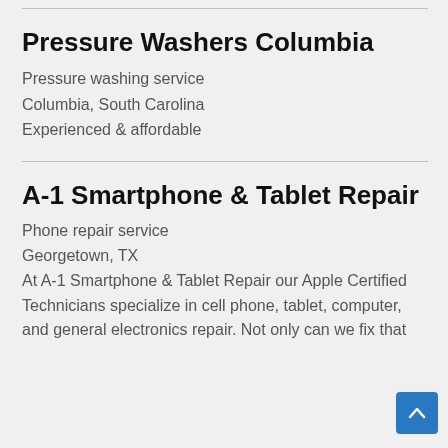Pressure Washers Columbia
Pressure washing service
Columbia, South Carolina
Experienced & affordable
A-1 Smartphone & Tablet Repair
Phone repair service
Georgetown, TX
At A-1 Smartphone & Tablet Repair our Apple Certified Technicians specialize in cell phone, tablet, computer, and general electronics repair. Not only can we fix that